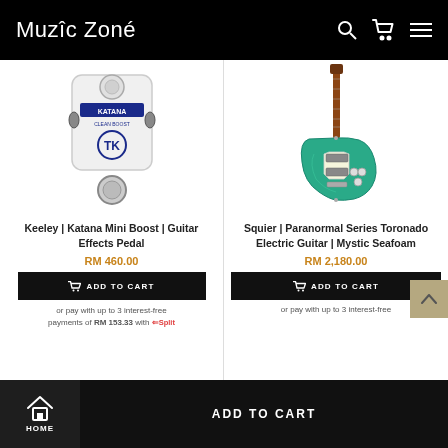Muzic Zoné
[Figure (photo): Keeley Katana Mini Boost guitar effects pedal - white pedal with blue KATANA CLEAN BOOST text and TK logo]
Keeley | Katana Mini Boost | Guitar Effects Pedal
RM 460.00
ADD TO CART
or pay with up to 3 interest-free payments of RM 153.33 with eSplit
[Figure (photo): Squier Paranormal Series Toronado Electric Guitar in Mystic Seafoam color - teal/green electric guitar]
Squier | Paranormal Series Toronado Electric Guitar | Mystic Seafoam
RM 2,180.00
ADD TO CART
or pay with up to 3 interest-free
HOME  ADD TO CART